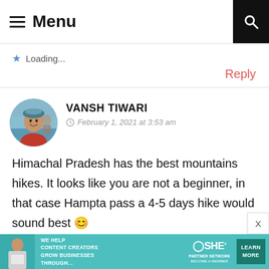Menu
Loading...
Reply
VANSH TIWARI
February 1, 2021 at 3:53 am
Himachal Pradesh has the best mountains hikes. It looks like you are not a beginner, in that case Hampta pass a 4-5 days hike would sound best 😊
[Figure (infographic): SHE Partner Network advertisement banner: We help content creators grow businesses through... Learn More button]
WE HELP CONTENT CREATORS GROW BUSINESSES THROUGH... | SHE PARTNER NETWORK BECOME A MEMBER | LEARN MORE